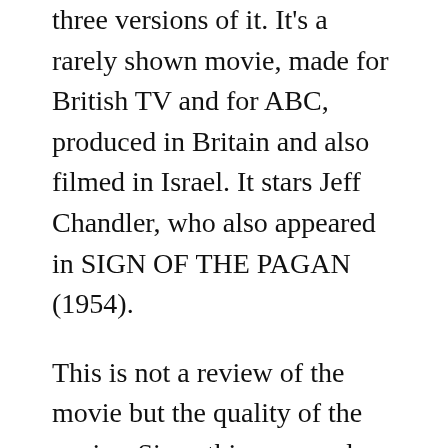three versions of it. It's a rarely shown movie, made for British TV and for ABC, produced in Britain and also filmed in Israel. It stars Jeff Chandler, who also appeared in SIGN OF THE PAGAN (1954).
This is not a review of the movie but the quality of the copies. Since this was made for TV it doesn't have a widescreen format. I have a German TV broadcast, one US broadcast and one Canadian broadcast (Moviepix). Overall, the German copies is much better than the other two. It looks more cinematic and the frame  not as cropped as the other two copies.
Let's compare: